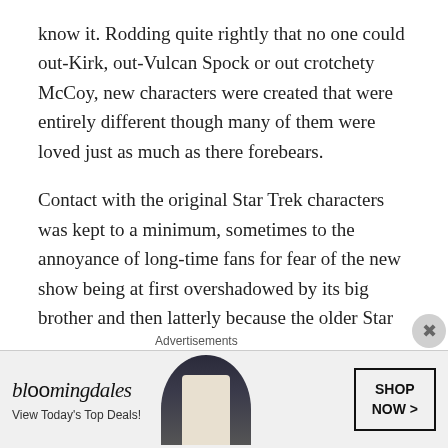know it. Rodding quite rightly that no one could out-Kirk, out-Vulcan Spock or out crotchety McCoy, new characters were created that were entirely different though many of them were loved just as much as there forebears.
Contact with the original Star Trek characters was kept to a minimum, sometimes to the annoyance of long-time fans for fear of the new show being at first overshadowed by its big brother and then latterly because the older Star Trek became relatively old and unfashionable… at least in the eyes of new showrunner Rick Berman who liked to steralise and blandify the universe in comparison to the pumping music and brightly lit originals.
In 1991, the final Star Trek movie, The Undiscovered
Advertisements
[Figure (other): Bloomingdale's advertisement banner: 'bloomingdales' logo, woman wearing a large dark hat, text 'View Today's Top Deals!', and a button 'SHOP NOW >']